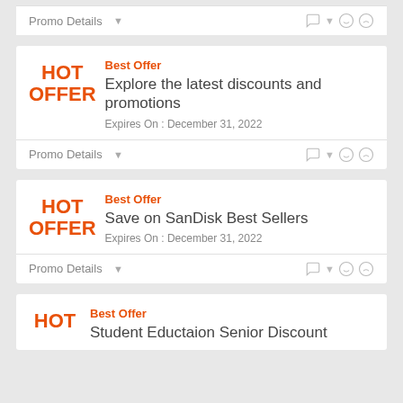Promo Details
Best Offer
Explore the latest discounts and promotions
Expires On : December 31, 2022
Promo Details
Best Offer
Save on SanDisk Best Sellers
Expires On : December 31, 2022
Promo Details
Best Offer
Student Eductaion Senior Discount